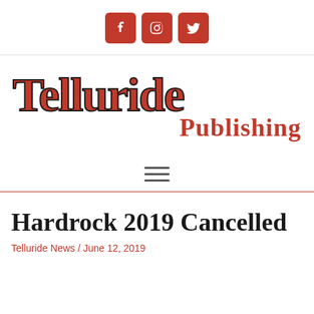[Figure (other): Social media icons: Facebook, Instagram, Twitter — red rounded square buttons]
[Figure (logo): Telluride Publishing logo — large red serif text with dark outline for 'Telluride' and smaller red serif 'Publishing']
[Figure (other): Hamburger menu icon — three horizontal dark lines]
Hardrock 2019 Cancelled
Telluride News / June 12, 2019